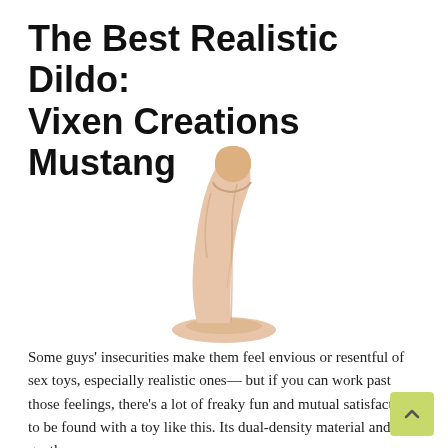The Best Realistic Dildo: Vixen Creations Mustang
[Figure (photo): A realistic flesh-toned dildo with a suction cup base, slightly curved, standing upright on a white background. Product is the Vixen Creations Mustang.]
Some guys' insecurities make them feel envious or resentful of sex toys, especially realistic ones— but if you can work past those feelings, there's a lot of freaky fun and mutual satisfaction to be found with a toy like this. Its dual-density material and gentle curve are terrific for G-spot stimulation, plus the suction cup base means it can